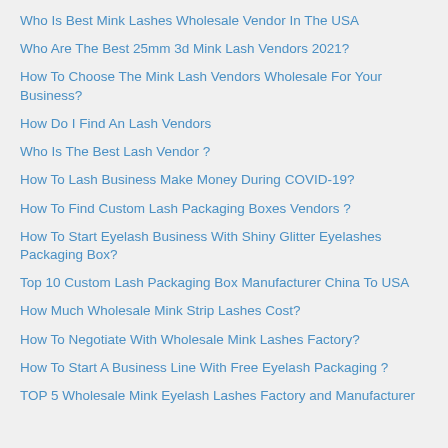Who Is Best Mink Lashes Wholesale Vendor In The USA
Who Are The Best 25mm 3d Mink Lash Vendors 2021?
How To Choose The Mink Lash Vendors Wholesale For Your Business?
How Do I Find An Lash Vendors
Who Is The Best Lash Vendor ?
How To Lash Business Make Money During COVID-19?
How To Find Custom Lash Packaging Boxes Vendors ?
How To Start Eyelash Business With Shiny Glitter Eyelashes Packaging Box?
Top 10 Custom Lash Packaging Box Manufacturer China To USA
How Much Wholesale Mink Strip Lashes Cost?
How To Negotiate With Wholesale Mink Lashes Factory?
How To Start A Business Line With Free Eyelash Packaging ?
TOP 5 Wholesale Mink Eyelash Lashes Factory and Manufacturer